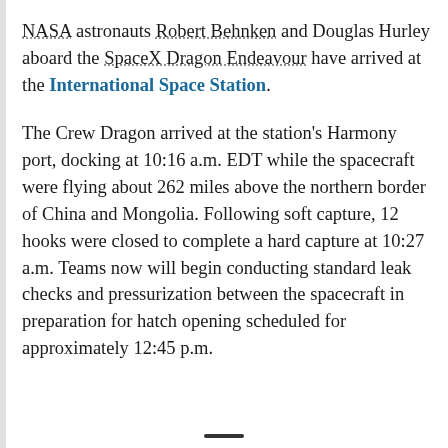NASA astronauts Robert Behnken and Douglas Hurley aboard the SpaceX Dragon Endeavour have arrived at the International Space Station.
The Crew Dragon arrived at the station's Harmony port, docking at 10:16 a.m. EDT while the spacecraft were flying about 262 miles above the northern border of China and Mongolia. Following soft capture, 12 hooks were closed to complete a hard capture at 10:27 a.m. Teams now will begin conducting standard leak checks and pressurization between the spacecraft in preparation for hatch opening scheduled for approximately 12:45 p.m.